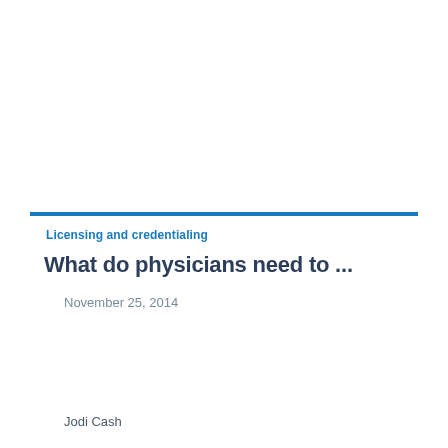Licensing and credentialing
What do physicians need to ...
November 25, 2014
Jodi Cash